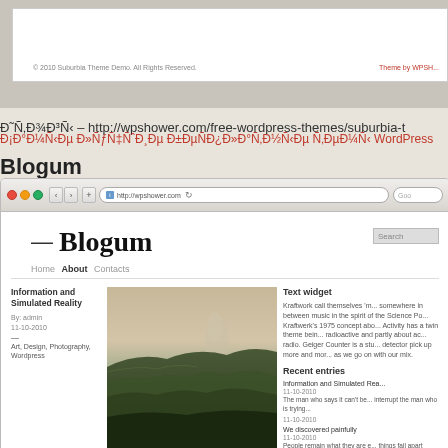[Figure (screenshot): Top portion of a website footer with copyright text and theme attribution]
Ð˜Ñ‚Ð¾Ð³Ñ‹ – http://wpshower.com/free-wordpress-themes/suburbia-t
Ð¡Ð°Ð¼Ñ‹Ðµ Ð»ÑƒÑ‡ÑˆÐ¸Ðµ Ð±ÐµÑÐ¿Ð»Ð°Ñ‚Ð½Ñ‹Ðµ Ñ‚ÐµÐ¼Ñ‹ WordPress
Blogum
[Figure (screenshot): Browser screenshot of the Blogum WordPress theme showing site header with navigation, a landscape photograph, sidebar with text widget and recent entries]